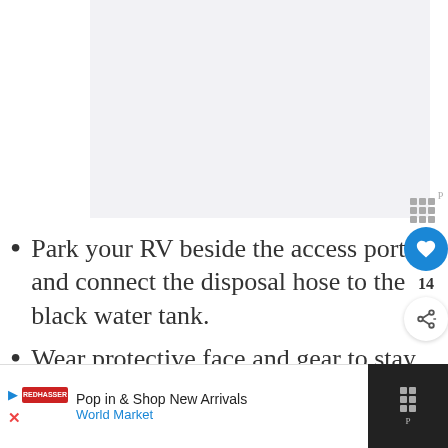[Figure (other): Light gray placeholder image area at the top of the page]
Park your RV beside the access port and connect the disposal hose to the black water tank.
Wear protective face and gear to stay protected and sanitary.
[Figure (screenshot): UI overlay with heart button (14 likes), share button, and WHAT'S NEXT panel showing 'How To Clean Out An RV...']
[Figure (screenshot): Advertisement bar at bottom: Pop in & Shop New Arrivals, World Market, with navigation icons and diamond logo]